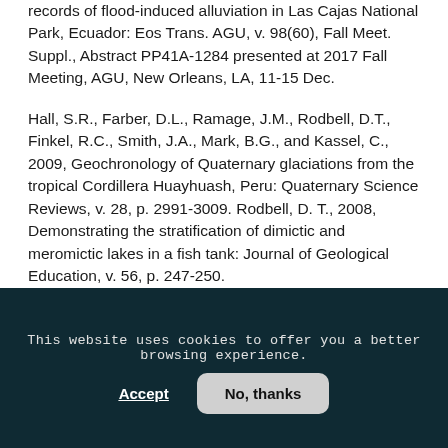records of flood-induced alluviation in Las Cajas National Park, Ecuador: Eos Trans. AGU, v. 98(60), Fall Meet. Suppl., Abstract PP41A-1284 presented at 2017 Fall Meeting, AGU, New Orleans, LA, 11-15 Dec.
Hall, S.R., Farber, D.L., Ramage, J.M., Rodbell, D.T., Finkel, R.C., Smith, J.A., Mark, B.G., and Kassel, C., 2009, Geochronology of Quaternary glaciations from the tropical Cordillera Huayhuash, Peru: Quaternary Science Reviews, v. 28, p. 2991-3009. Rodbell, D. T., 2008, Demonstrating the stratification of dimictic and meromictic lakes in a fish tank: Journal of Geological Education, v. 56, p. 247-250.
This website uses cookies to offer you a better browsing experience.
Accept
No, thanks